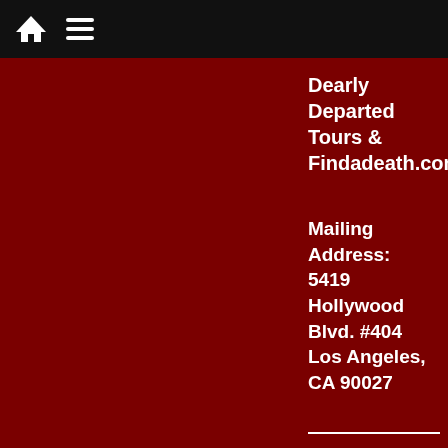Dearly Departed Tours
& Findadeath.com
Mailing Address:
5419 Hollywood Blvd. #404
Los Angeles, CA 90027
infolinks  © 1999-2023 - Scott Michaels' Findadeath - All right
[Figure (screenshot): Advertisement for Belk.com - Belk® - Official Site. Up To 40% Off Kids & Baby Apparel. www.belk.com. Shows images of children's clothing items.]